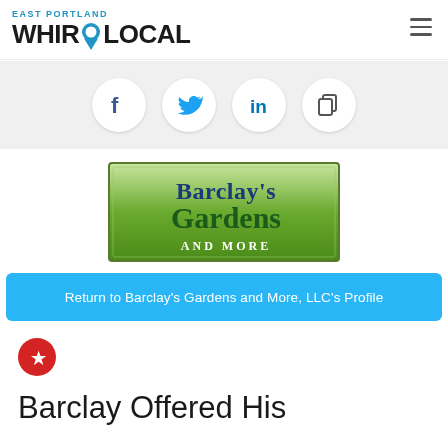EAST PORTLAND WhirLocal
[Figure (infographic): Social sharing icons: Facebook, Twitter, LinkedIn, Copy/Share]
[Figure (logo): Barclay's Gardens and More logo - green gradient rectangle with serif text]
Return to Barclay's Gardens and More, LLC's Profile
[Figure (logo): Yelp red circle logo icon]
Barclay Offered His